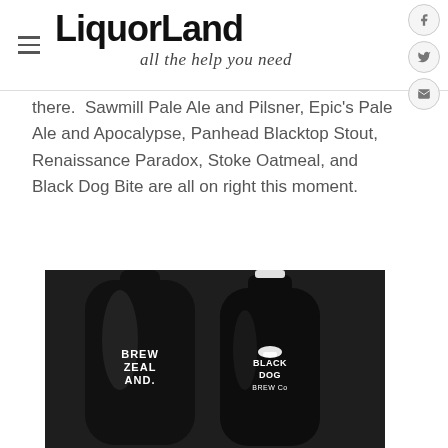LiquorLand — all the help you need
there.  Sawmill Pale Ale and Pilsner, Epic's Pale Ale and Apocalypse, Panhead Blacktop Stout, Renaissance Paradox, Stoke Oatmeal, and Black Dog Bite are all on right this moment.
[Figure (photo): Black and white photo of two dark glass growler bottles — one labeled 'Brew Zealand' and one labeled 'Black Dog Brew Co.']